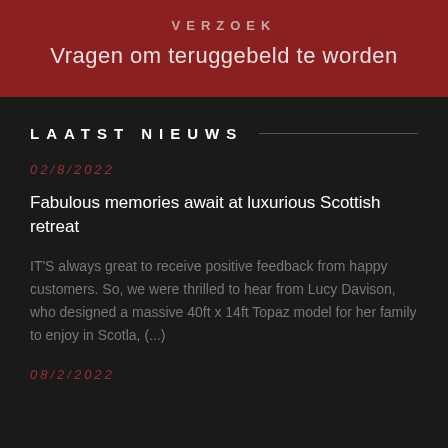VERZOEK
Vragen om teruggebeld te worden
LAATST NIEUWS
02/8/2022
Fabulous memories await at luxurious Scottish retreat
IT'S always great to receive positive feedback from happy customers. So, we were thrilled to hear from Lucy Davison, who designed a massive 40ft x 14ft Topaz model for her family to enjoy in Scotla, (...)
08/2/2022